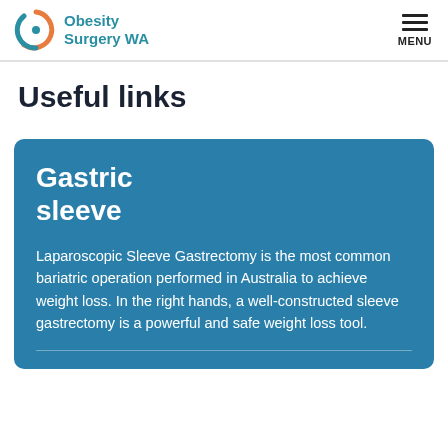Obesity Surgery WA | MENU
Useful links
Gastric sleeve
Laparoscopic Sleeve Gastrectomy is the most common bariatric operation performed in Australia to achieve weight loss. In the right hands, a well-constructed sleeve gastrectomy is a powerful and safe weight loss tool.